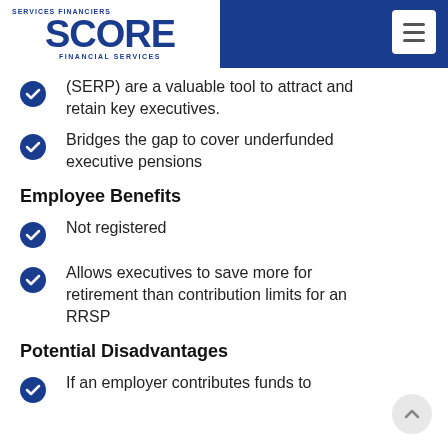SCORE FINANCIAL SERVICES
(SERP) are a valuable tool to attract and retain key executives.
Bridges the gap to cover underfunded executive pensions
Employee Benefits
Not registered
Allows executives to save more for retirement than contribution limits for an RRSP
Potential Disadvantages
If an employer contributes funds to